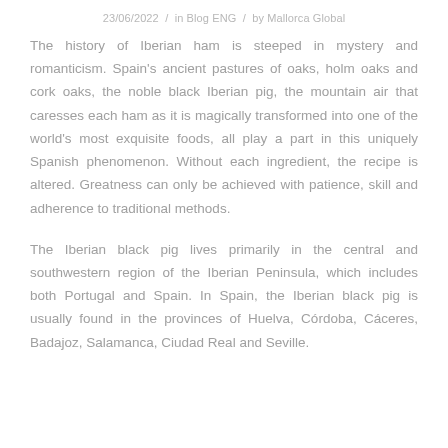23/06/2022  /  in Blog ENG  /  by Mallorca Global
The history of Iberian ham is steeped in mystery and romanticism. Spain's ancient pastures of oaks, holm oaks and cork oaks, the noble black Iberian pig, the mountain air that caresses each ham as it is magically transformed into one of the world's most exquisite foods, all play a part in this uniquely Spanish phenomenon. Without each ingredient, the recipe is altered. Greatness can only be achieved with patience, skill and adherence to traditional methods.
The Iberian black pig lives primarily in the central and southwestern region of the Iberian Peninsula, which includes both Portugal and Spain. In Spain, the Iberian black pig is usually found in the provinces of Huelva, Córdoba, Cáceres, Badajoz, Salamanca, Ciudad Real and Seville.